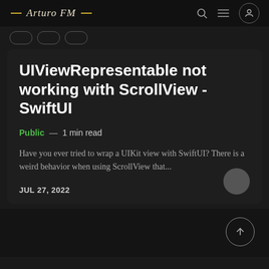Arturo FM
UIViewRepresentable not working with ScrollView - SwiftUI
Public — 1 min read
Have you ever tried to wrap a UIKit view with SwiftUI? There is a weird behavior when using ScrollView that...
JUL 27, 2022